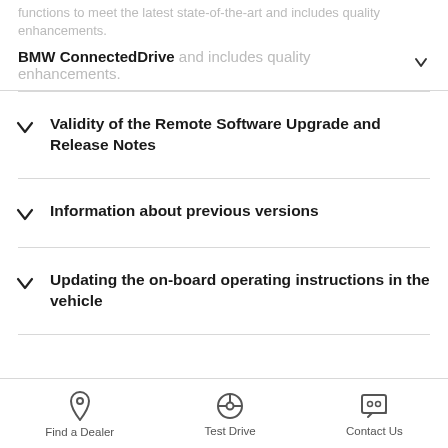functions to meet the latest state-of-the-art and includes quality enhancements.
BMW ConnectedDrive
Validity of the Remote Software Upgrade and Release Notes
Information about previous versions
Updating the on-board operating instructions in the vehicle
Find a Dealer   Test Drive   Contact Us